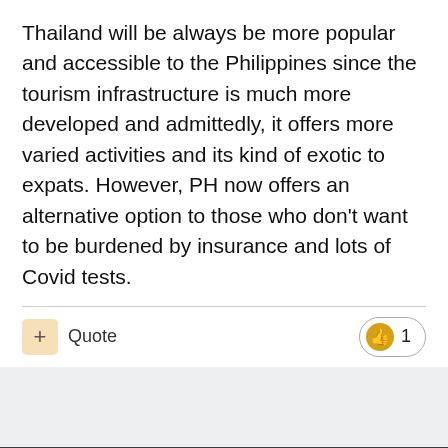Thailand will be always be more popular and accessible to the Philippines since the tourism infrastructure is much more developed and admittedly, it offers more varied activities and its kind of exotic to expats. However, PH now offers an alternative option to those who don't want to be burdened by insurance and lots of Covid tests.
+ Quote  👍 1
Important Information
By posting on Thaiger Talk you agree to the Terms of Use
✓ I accept